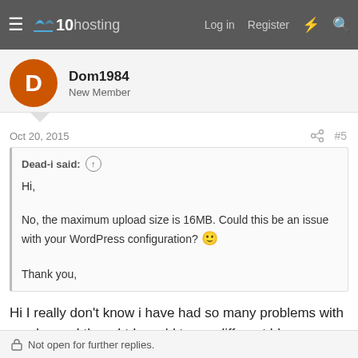x10hosting — Log in  Register
Dom1984
New Member
Oct 20, 2015  #5
Dead-i said: ↑
Hi,
No, the maximum upload size is 16MB. Could this be an issue with your WordPress configuration? 🙂
Thank you,
Hi I really don't know i have had so many problems with wordpress I thought I would trey a different blog software. Can yu recommend something that works better but still can stream music and store photos..
Not open for further replies.